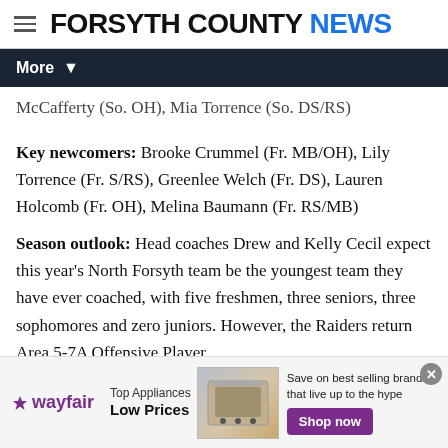FORSYTH COUNTY NEWS
McCafferty (So. OH), Mia Torrence (So. DS/RS)
Key newcomers: Brooke Crummel (Fr. MB/OH), Lily Torrence (Fr. S/RS), Greenlee Welch (Fr. DS), Lauren Holcomb (Fr. OH), Melina Baumann (Fr. RS/MB)
Season outlook: Head coaches Drew and Kelly Cecil expect this year's North Forsyth team be the youngest team they have ever coached, with five freshmen, three seniors, three sophomores and zero juniors. However, the Raiders return Area 5-7A Offensive Player of the Year Kate Rogers, who also has hill and hit top recruiting
[Figure (other): Wayfair advertisement banner: Top Appliances Low Prices, Save on best selling brands that live up to the hype, Shop now button, appliance image]